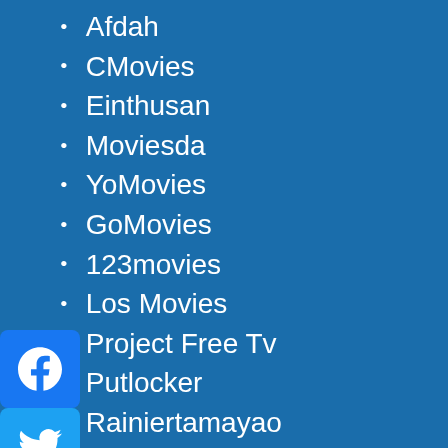Afdah
CMovies
Einthusan
Moviesda
YoMovies
GoMovies
123movies
Los Movies
Project Free Tv
Putlocker
Rainiertamayao
Fmovies
HDPopCorns
Rainierland
LetMeWatchThis